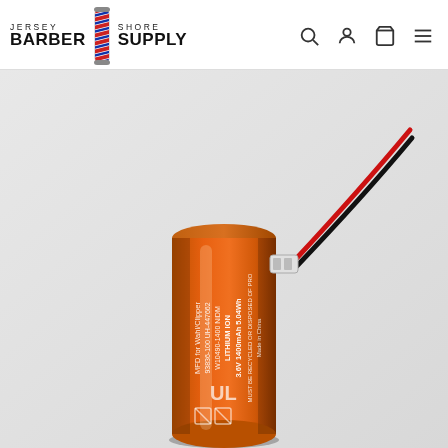[Figure (logo): Jersey Shore Barber Supply logo with barber pole graphic]
[Figure (photo): Orange cylindrical lithium ion battery with red and black wire connector. Label reads: MFD for Wahl/Clipper, 93836-100 UH-447662, W10490-1400 NIDM, LITHIUM ION, 3.6V 1400mAh 5.04Wh, MUST BE RECYCLED OR DISPOSED OF PRO, Made in China. UL mark visible.]